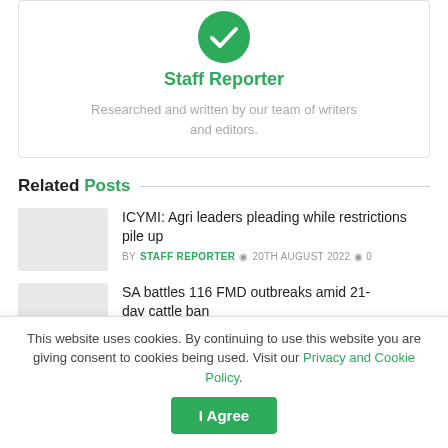[Figure (logo): Green circular logo with leaf/check mark icon]
Staff Reporter
Researched and written by our team of writers and editors.
Related Posts
ICYMI: Agri leaders pleading while restrictions pile up
BY STAFF REPORTER  20TH AUGUST 2022  0
SA battles 116 FMD outbreaks amid 21-day cattle ban
This website uses cookies. By continuing to use this website you are giving consent to cookies being used. Visit our Privacy and Cookie Policy.